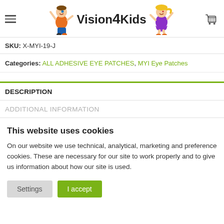Vision 4 Kids — site header with logo and navigation
SKU: X-MYI-19-J
Categories: ALL ADHESIVE EYE PATCHES, MYI Eye Patches
DESCRIPTION
ADDITIONAL INFORMATION
This website uses cookies
On our website we use technical, analytical, marketing and preference cookies. These are necessary for our site to work properly and to give us information about how our site is used.
Settings | I accept